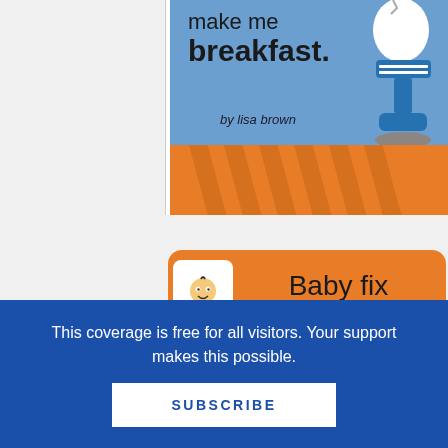[Figure (illustration): Book cover showing 'make me breakfast.' by lisa brown with an egg in an egg cup on a blue and orange background]
[Figure (illustration): Book cover showing 'Baby fix my car.' with a baby face logo badge on an orange background]
This coverage is free for all visitors. Your support makes this possible.
SUBSCRIBE